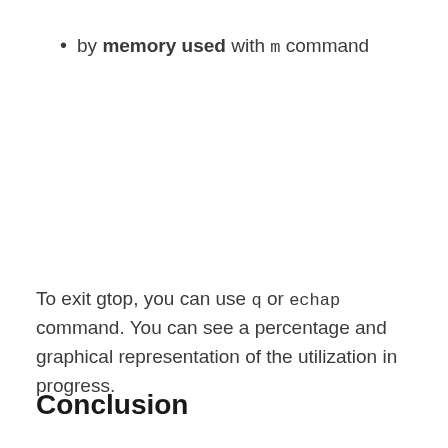by memory used with m command
To exit gtop, you can use q or echap command. You can see a percentage and graphical representation of the utilization in progress.
Conclusion